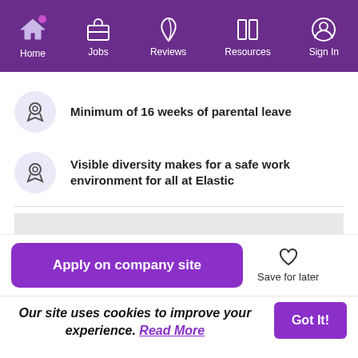Home | Jobs | Reviews | Resources | Sign In
Minimum of 16 weeks of parental leave
Visible diversity makes for a safe work environment for all at Elastic
Apply on company site
Save for later
Our site uses cookies to improve your experience. Read More